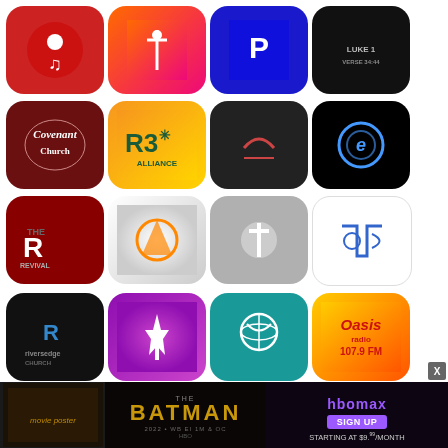[Figure (screenshot): Grid of app icons for church/media apps including Covenant Church, R3 Alliance, Kings Church of Christ, Rivers Edge Church, Harvest Bible Chapel, Oasis Radio, and others, plus an HBO Max advertisement banner for The Batman at the bottom]
[Figure (infographic): HBO Max advertisement banner: The Batman movie ad with 'SIGN UP STARTING AT $9.99/MONTH']